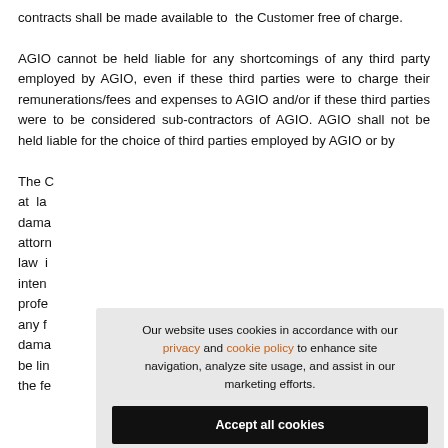contracts shall be made available to the Customer free of charge.

AGIO cannot be held liable for any shortcomings of any third party employed by AGIO, even if these third parties were to charge their remunerations/fees and expenses to AGIO and/or if these third parties were to be considered sub-contractors of AGIO. AGIO shall not be held liable for the choice of third parties employed by AGIO or by
The C[...] at la[...] dama[...] attorn[...] law i[...] inten[...] profe[...] any fa[...] dama[...] be lin[...] the fe[...]
[Figure (other): Cookie consent modal overlay with text: 'Our website uses cookies in accordance with our privacy and cookie policy to enhance site navigation, analyze site usage, and assist in our marketing efforts.' with an 'Accept all cookies' black button and 'Change preferences' text link.]